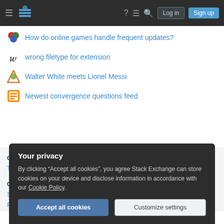Navigation bar with hamburger menu, Stack Exchange logo, help, chat, search icons, Log in and Sign up buttons
How do online games handle frequent updates?
wrong filetype for extension
Walter White meets Lionel Messi
Newest convergence questions feed
COMPUTATIONAL SCIENCE
Tour  Help  Chat  Contact  Feedback
COMPANY
Stack Overflow  Teams  Advertising  Collectives  Talent  About  Press
Your privacy
By clicking "Accept all cookies", you agree Stack Exchange can store cookies on your device and disclose information in accordance with our Cookie Policy.
Accept all cookies  Customize settings